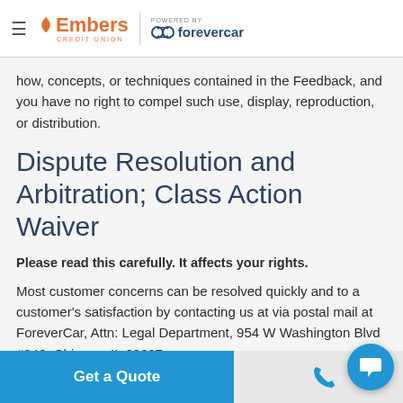Embers Credit Union | powered by forevercar
how, concepts, or techniques contained in the Feedback, and you have no right to compel such use, display, reproduction, or distribution.
Dispute Resolution and Arbitration; Class Action Waiver
Please read this carefully. It affects your rights.
Most customer concerns can be resolved quickly and to a customer's satisfaction by contacting us at via postal mail at ForeverCar, Attn: Legal Department, 954 W Washington Blvd #340, Chicago, IL 60607 or v
Get a Quote